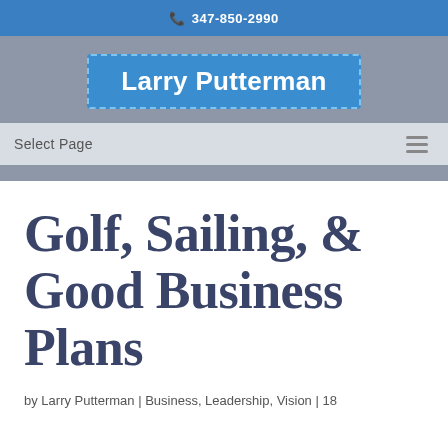347-850-2990
Larry Putterman
Select Page
Golf, Sailing, & Good Business Plans
by Larry Putterman | Business, Leadership, Vision | 18